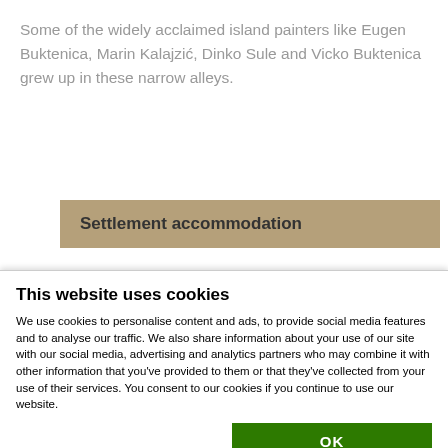Some of the widely acclaimed island painters like Eugen Buktenica, Marin Kalajzić, Dinko Sule and Vicko Buktenica grew up in these narrow alleys.
Settlement accommodation
This website uses cookies
We use cookies to personalise content and ads, to provide social media features and to analyse our traffic. We also share information about your use of our site with our social media, advertising and analytics partners who may combine it with other information that you've provided to them or that they've collected from your use of their services. You consent to our cookies if you continue to use our website.
OK
Necessary  Preferences  Statistics  Marketing  Show details